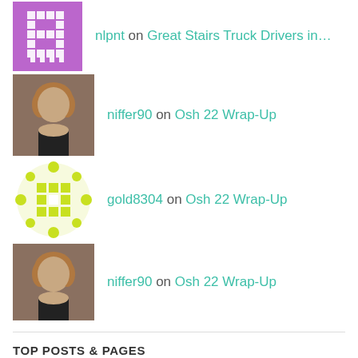nlpnt on Great Stairs Truck Drivers in...
niffer90 on Osh 22 Wrap-Up
gold8304 on Osh 22 Wrap-Up
niffer90 on Osh 22 Wrap-Up
TOP POSTS & PAGES
Airline Fees that THEY Have to Pay
The Definitive Guide to Airport Vehicles (I'd Like to Drive)